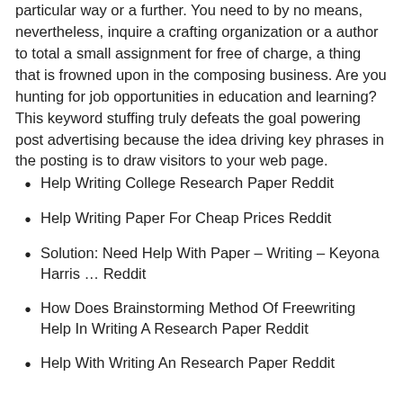particular way or a further. You need to by no means, nevertheless, inquire a crafting organization or a author to total a small assignment for free of charge, a thing that is frowned upon in the composing business. Are you hunting for job opportunities in education and learning? This keyword stuffing truly defeats the goal powering post advertising because the idea driving key phrases in the posting is to draw visitors to your web page.
Help Writing College Research Paper Reddit
Help Writing Paper For Cheap Prices Reddit
Solution: Need Help With Paper – Writing – Keyona Harris … Reddit
How Does Brainstorming Method Of Freewriting Help In Writing A Research Paper Reddit
Help With Writing An Research Paper Reddit